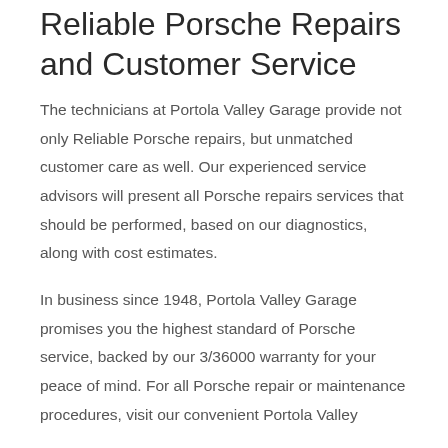Reliable Porsche Repairs and Customer Service
The technicians at Portola Valley Garage provide not only Reliable Porsche repairs, but unmatched customer care as well. Our experienced service advisors will present all Porsche repairs services that should be performed, based on our diagnostics, along with cost estimates.
In business since 1948, Portola Valley Garage promises you the highest standard of Porsche service, backed by our 3/36000 warranty for your peace of mind. For all Porsche repair or maintenance procedures, visit our convenient Portola Valley